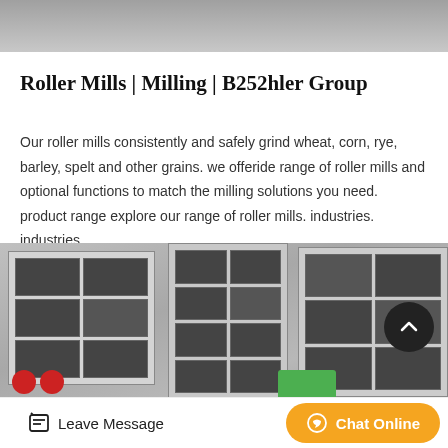[Figure (photo): Gray textured surface/ceiling photo at top of page]
Roller Mills | Milling | B252hler Group
Our roller mills consistently and safely grind wheat, corn, rye, barley, spelt and other grains. we offeride range of roller mills and optional functions to match the milling solutions you need. product range explore our range of roller mills. industries. industries.
[Figure (screenshot): Black rounded button labeled Get Price]
[Figure (photo): Photo of industrial building exterior with windows]
Leave Message   Chat Online